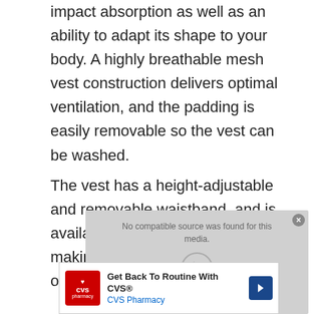impact absorption as well as an ability to adapt its shape to your body. A highly breathable mesh vest construction delivers optimal ventilation, and the padding is easily removable so the vest can be washed.
The vest has a height-adjustable and removable waistband, and is available in regular and slim fit, making it ideal for a wide variety of body shapes and sizes.
[Figure (screenshot): Video player overlay showing 'No compatible source was found for this media.' with a play/download button icon, overlaid on a CVS Pharmacy advertisement reading 'Get Back To Routine With CVS® CVS Pharmacy' with CVS logo and navigation arrow. Ad controls (play and close buttons) shown below.]